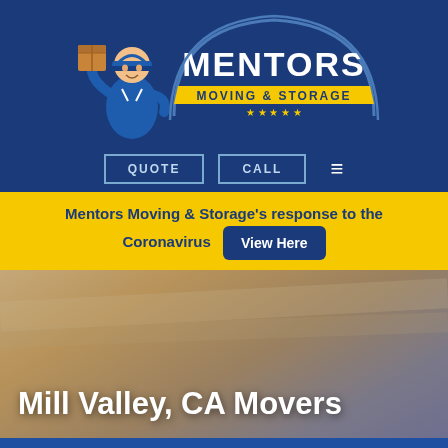[Figure (logo): Mentors Moving & Storage logo with cartoon mover holding a box, dark blue background, yellow banner reading MOVING & STORAGE with stars]
QUOTE   CALL   ☰
Mentors Moving & Storage's response to the Coronavirus   View Here
Mill Valley, CA Movers
REQUEST A QUOTE
[Figure (infographic): Bottom icon bar with four icons: phone, calculator/grid, clipboard/list, and up-arrow chevron]